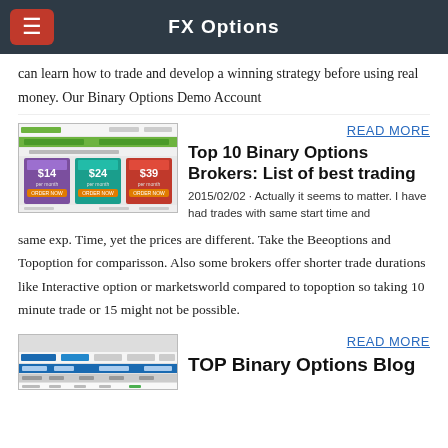FX Options
can learn how to trade and develop a winning strategy before using real money. Our Binary Options Demo Account
READ MORE
Top 10 Binary Options Brokers: List of best trading
2015/02/02 · Actually it seems to matter. I have had trades with same start time and same exp. Time, yet the prices are different. Take the Beeoptions and Topoption for comparisson. Also some brokers offer shorter trade durations like Interactive option or marketsworld compared to topoption so taking 10 minute trade or 15 might not be possible.
[Figure (screenshot): Screenshot of a binary options broker website showing pricing tiers $14, $24, $39]
READ MORE
TOP Binary Options Blog